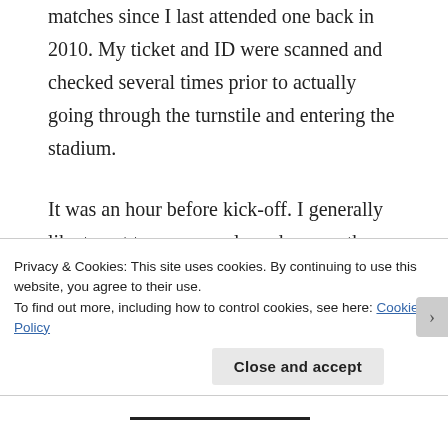matches since I last attended one back in 2010. My ticket and ID were scanned and checked several times prior to actually going through the turnstile and entering the stadium.
It was an hour before kick-off. I generally like to get to games early and savour the build-up.
A few days earlier I'd read an article by Paul Scholes in which he said that he was becoming increasingly disillusioned by 'big football' (by which he was primarily referencing the English Premier League) and preferred
Privacy & Cookies: This site uses cookies. By continuing to use this website, you agree to their use.
To find out more, including how to control cookies, see here: Cookie Policy
Close and accept